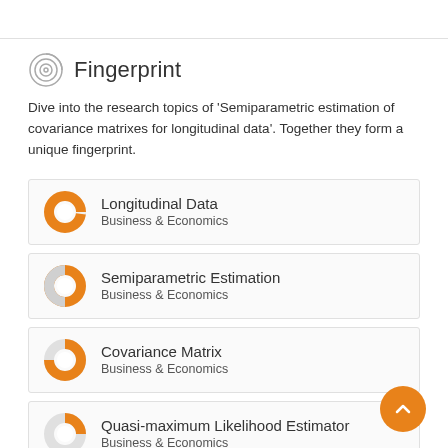Fingerprint
Dive into the research topics of 'Semiparametric estimation of covariance matrixes for longitudinal data'. Together they form a unique fingerprint.
Longitudinal Data
Business & Economics
Semiparametric Estimation
Business & Economics
Covariance Matrix
Business & Economics
Quasi-maximum Likelihood Estimator
Business & Economics